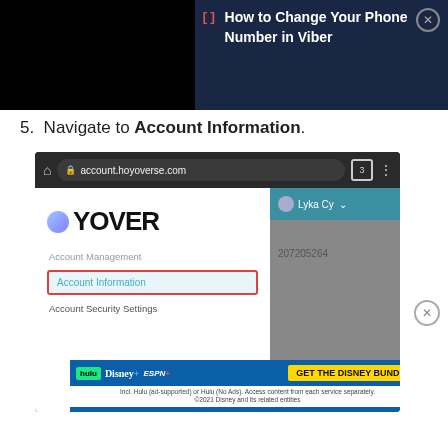[Figure (screenshot): Top banner with black left portion and dark navy blue right portion showing article title 'How to Change Your Phone Number in Viber' with a bracket icon and close button]
5. Navigate to Account Information.
[Figure (screenshot): Mobile browser screenshot showing account.hoyoverse.com with browser navigation bar, Hoyoverse logo, left menu panel with Account Management, highlighted 'Account Information' menu item (red border, light blue background), Account Security Settings, and right grey panel showing user 'Lyka Cy' and number 207205264. Bottom shows Disney Bundle advertisement.]